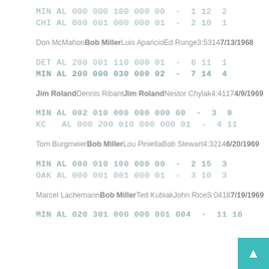MIN AL 000 000 100 000 00  -  1 12  2
CHI AL 000 001 000 000 01  -  2 10  1
Don McMahonBob MillerLuis AparicioEd Runge3:53147/13/1968
DET AL 200 001 110 000 01  -  6 11  1
MIN AL 200 000 030 000 02  -  7 14  4
Jim RolandDennis RibantJim RolandNestor Chylak4:4117 4/9/1969
MIN AL 002 010 000 000 000 00  -  3  9
KC  AL 000 200 010 000 000 01  -  4 11
Tom BurgmeierBob MillerLou PiniellaBob Stewart4:32146/20/1969
MIN AL 000 010 100 000 00  -  2 15  3
OAK AL 000 001 001 000 01  -  3 10  3
Marcel LachemannBob MillerTed KubiakJohn RiceS:04187/19/1969
MIN AL 020 301 000 000 001 004  -  11 16